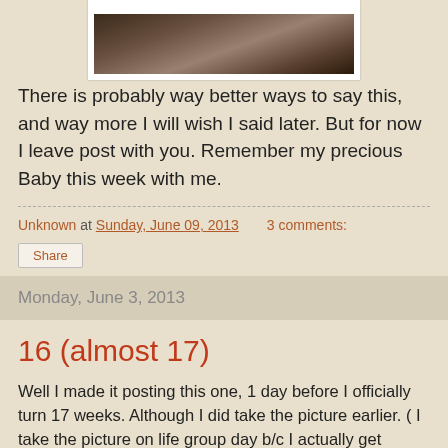[Figure (photo): Partial photo of a baby or person, cropped, shown at top of page in white frame]
There is probably way better ways to say this, and way more I will wish I said later. But for now I leave post with you. Remember my precious Baby this week with me.
Unknown at Sunday, June 09, 2013    3 comments:
Share
Monday, June 3, 2013
16 (almost 17)
Well I made it posting this one, 1 day before I officially turn 17 weeks. Although I did take the picture earlier. ( I take the picture on life group day b/c I actually get dressed to go somewhere)
Not much new to update, I'm getting bigger by the second